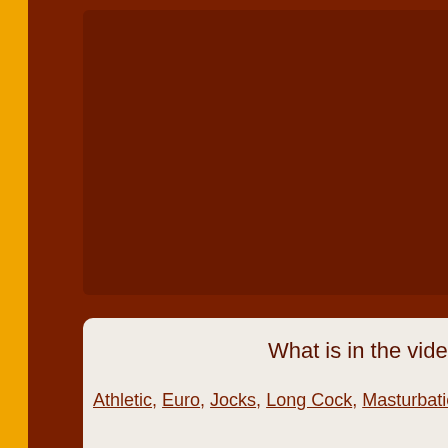[Figure (screenshot): Dark brown website background with an orange/yellow vertical bar on the left edge, a dark brown video panel placeholder in the upper portion, and a light beige info box at the bottom with the heading 'What is in the video:' and tag links below it.]
What is in the video:
Athletic, Euro, Jocks, Long Cock, Masturbation, Posing